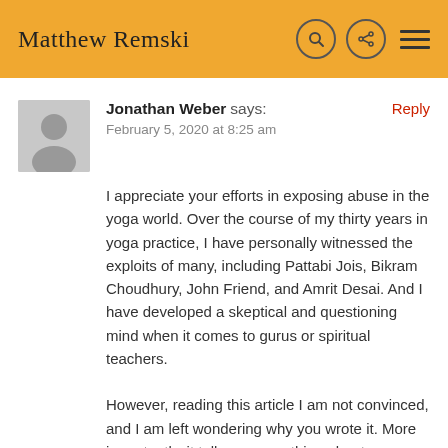Matthew Remski
Jonathan Weber says:
February 5, 2020 at 8:25 am
I appreciate your efforts in exposing abuse in the yoga world. Over the course of my thirty years in yoga practice, I have personally witnessed the exploits of many, including Pattabi Jois, Bikram Choudhury, John Friend, and Amrit Desai. And I have developed a skeptical and questioning mind when it comes to gurus or spiritual teachers.
However, reading this article I am not convinced, and I am left wondering why you wrote it. More importantly, it tells me something about your character. The fact that